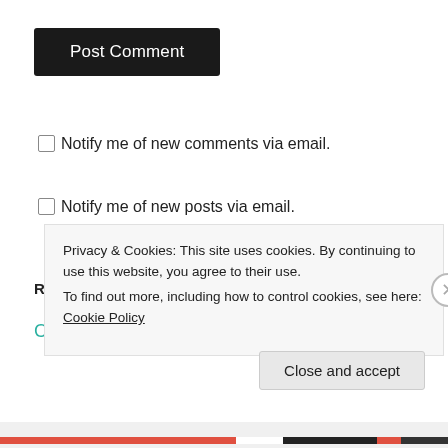Post Comment
Notify me of new comments via email.
Notify me of new posts via email.
RECENT POSTS
Coping With Feelings of Overwhelm and Anxiety
Privacy & Cookies: This site uses cookies. By continuing to use this website, you agree to their use.
To find out more, including how to control cookies, see here: Cookie Policy
Close and accept